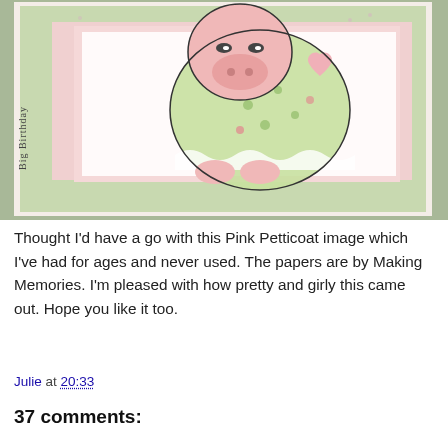[Figure (photo): A handmade birthday card featuring a Pink Petticoat character (cute hippopotamus in a green dotted dress with a pink heart), set on green floral patterned paper borders with pink matting. The text 'Big Birthday' is written vertically on the left side of the card.]
Thought I'd have a go with this Pink Petticoat image which I've had for ages and never used. The papers are by Making Memories. I'm pleased with how pretty and girly this came out. Hope you like it too.
Julie at 20:33
37 comments: